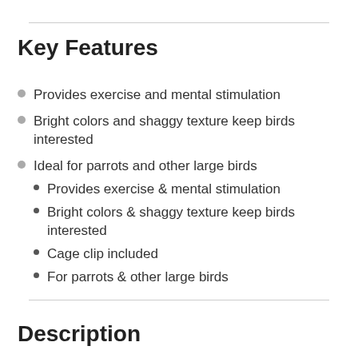Key Features
Provides exercise and mental stimulation
Bright colors and shaggy texture keep birds interested
Ideal for parrots and other large birds
Provides exercise & mental stimulation
Bright colors & shaggy texture keep birds interested
Cage clip included
For parrots & other large birds
Description